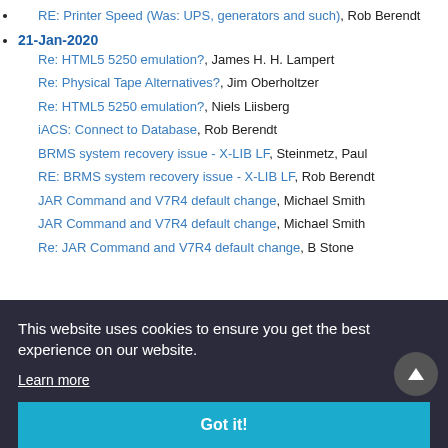RE: Printer Speed (Was: UPS, generators and such), Rob Berendt
21-Jan-2020
Re: HTML5 5250 emulation?, James H. H. Lampert
Re: Physical Tape Alternatives?, Jim Oberholtzer
Re: HTML5 5250 emulation?, Niels Liisberg
iACS: Connect to Database, Rob Berendt
BRMS system recovery issue - X-LIB LF, Steinmetz, Paul
RE: BRMS system recovery issue - X-LIB LF, Rob Berendt
JAR Command and V7R4 default change, Michael Smith
JAR Command and V7R4 default change, Michael Smith
Re: JAR Command and V7R4 default change, B Stone
This website uses cookies to ensure you get the best experience on our website. Learn more
STRRCYBRM - recovery list by tape sequence number, Steinmetz,